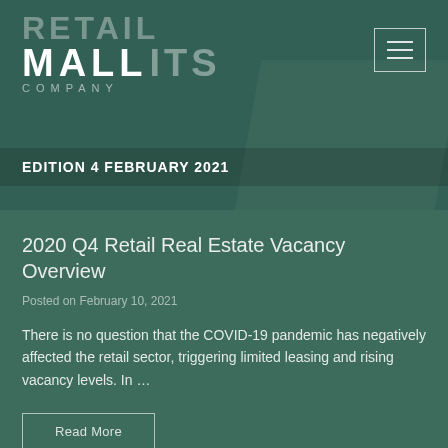THE RETAIL MALL COMPANY INSIGHTS – EDITION 4 FEBRUARY 2021
2020 Q4 Retail Real Estate Vacancy Overview
Posted on February 10, 2021
There is no question that the COVID-19 pandemic has negatively affected the retail sector, triggering limited leasing and rising vacancy levels. In …